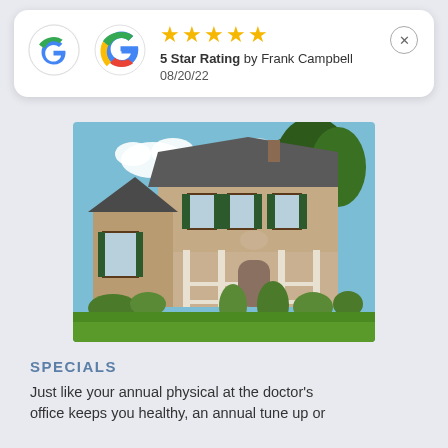[Figure (other): Google review card showing 5 star rating by Frank Campbell on 08/20/22 with Google logo and close button]
[Figure (photo): Two-story brick colonial home with green shutters, covered front porch, manicured lawn and landscaping, blue sky with trees in background]
SPECIALS
Just like your annual physical at the doctor's office keeps you healthy, an annual tune up or